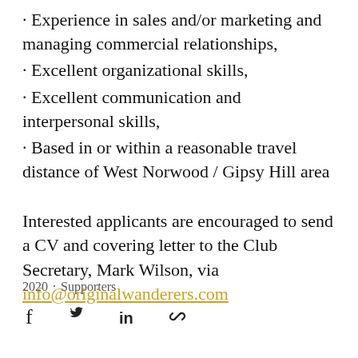· Experience in sales and/or marketing and managing commercial relationships,
· Excellent organizational skills,
· Excellent communication and interpersonal skills,
· Based in or within a reasonable travel distance of West Norwood / Gipsy Hill area
Interested applicants are encouraged to send a CV and covering letter to the Club Secretary, Mark Wilson, via info@originalwanderers.com
2020 · Supporters